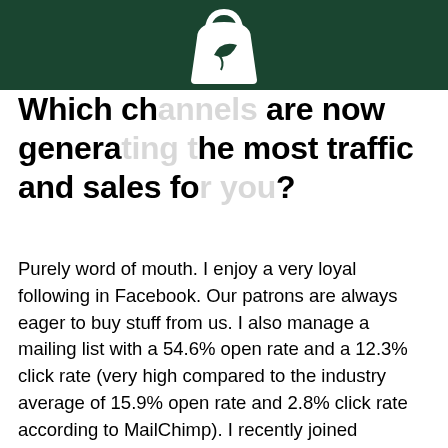[Figure (logo): White shopping bag icon with leaf on dark green header bar]
Which channels are now generating the most traffic and sales for you?
Purely word of mouth. I enjoy a very loyal following in Facebook. Our patrons are always eager to buy stuff from us. I also manage a mailing list with a 54.6% open rate and a 12.3% click rate (very high compared to the industry average of 15.9% open rate and 2.8% click rate according to MailChimp). I recently joined Instagram and we are growing fast there. I have a Twitter account but I rarely use